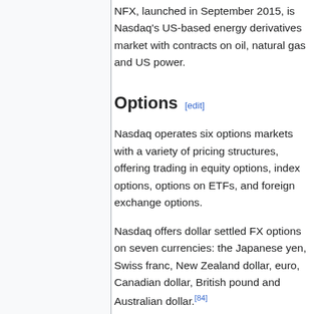NFX, launched in September 2015, is Nasdaq's US-based energy derivatives market with contracts on oil, natural gas and US power.
Options [edit]
Nasdaq operates six options markets with a variety of pricing structures, offering trading in equity options, index options, options on ETFs, and foreign exchange options.
Nasdaq offers dollar settled FX options on seven currencies: the Japanese yen, Swiss franc, New Zealand dollar, euro, Canadian dollar, British pound and Australian dollar.[84]
In Europe, Nasdaq exchanges also offer trading in fixed income options, equity options, and index options.